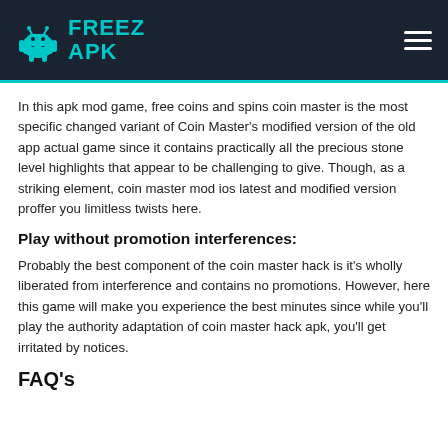FREEZ APK
In this apk mod game, free coins and spins coin master is the most specific changed variant of Coin Master's modified version of the old app actual game since it contains practically all the precious stone level highlights that appear to be challenging to give. Though, as a striking element, coin master mod ios latest and modified version proffer you limitless twists here.
Play without promotion interferences:
Probably the best component of the coin master hack is it's wholly liberated from interference and contains no promotions. However, here this game will make you experience the best minutes since while you'll play the authority adaptation of coin master hack apk, you'll get irritated by notices.
FAQ's